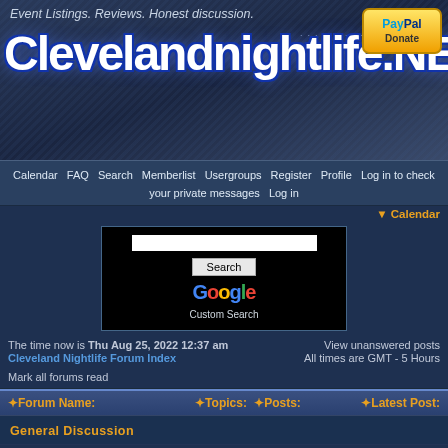Event Listings. Reviews. Honest discussion. Clevelandnightlife.NET
Calendar  FAQ  Search  Memberlist  Usergroups  Register  Profile  Log in to check your private messages  Log in
Calendar
The time now is Thu Aug 25, 2022 12:37 am
Cleveland Nightlife Forum Index
View unanswered posts
Mark all forums read
All times are GMT - 5 Hours
| Forum Name: | Topics: | Posts: | Latest Post: |
| --- | --- | --- | --- |
| General Discussion |  |  |  |
| Forbidden City (General Discussion)
General chat area for CNL. Please limit DJ and Music discussions to other areas of the site. | 2755 | 25146 | Mon Jan 17, 2022 7:20 pm
Derek Carney |
| Events
Read the post at top of section for posting guidelines. | 2 | 1651 | Mon Aug 22, 2022 3:28 pm
stoutxtc |
| Reviews (Completed Events) |  |  |  |